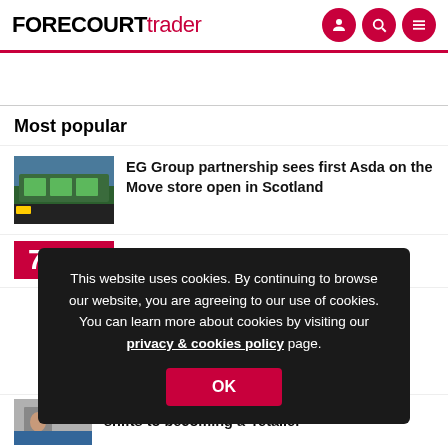FORECOURTtrader
Most popular
EG Group partnership sees first Asda on the Move store open in Scotland
This website uses cookies. By continuing to browse our website, you are agreeing to our use of cookies. You can learn more about cookies by visiting our privacy & cookies policy page.
shifts to becoming a 'retailer'